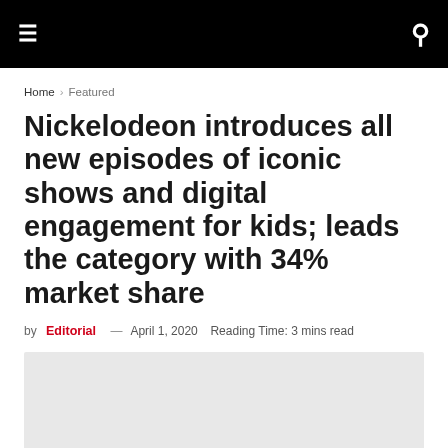≡  🔍
Home › Featured
Nickelodeon introduces all new episodes of iconic shows and digital engagement for kids; leads the category with 34% market share
by Editorial — April 1, 2020  Reading Time: 3 mins read
[Figure (photo): Light gray image placeholder area below the article byline]